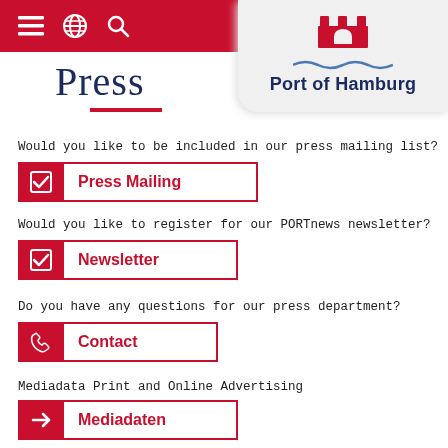Navigation bar with menu, globe, and search icons
[Figure (logo): Port of Hamburg logo with red castle icon and wavy blue line, text 'Port of Hamburg' in dark navy bold]
Press
Would you like to be included in our press mailing list?
Press Mailing
Would you like to register for our PORTnews newsletter?
Newsletter
Do you have any questions for our press department?
Contact
Mediadata Print and Online Advertising
Mediadaten